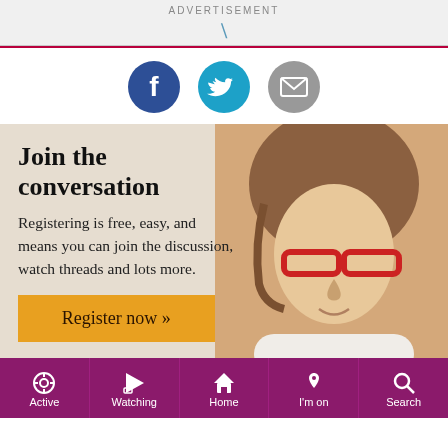ADVERTISEMENT
[Figure (other): Social sharing icons: Facebook (dark blue circle), Twitter (light blue circle), Email (grey circle)]
Join the conversation
Registering is free, easy, and means you can join the discussion, watch threads and lots more.
Register now »
Active  Watching  Home  I'm on  Search